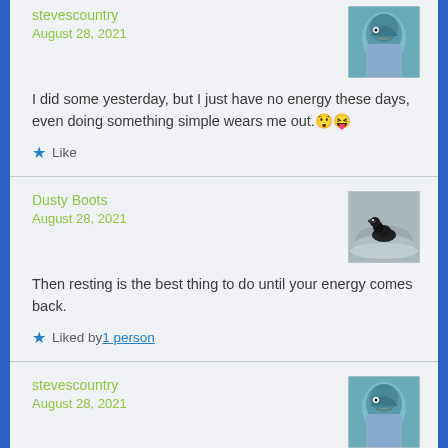stevescountry
August 28, 2021
[Figure (photo): Blue jay bird close-up avatar]
I did some yesterday, but I just have no energy these days, even doing something simple wears me out. 😲🤪
★ Like
Dusty Boots
August 28, 2021
[Figure (photo): Loon swimming on water avatar]
Then resting is the best thing to do until your energy comes back.
★ Liked by 1 person
stevescountry
August 28, 2021
[Figure (photo): Blue jay bird close-up avatar]